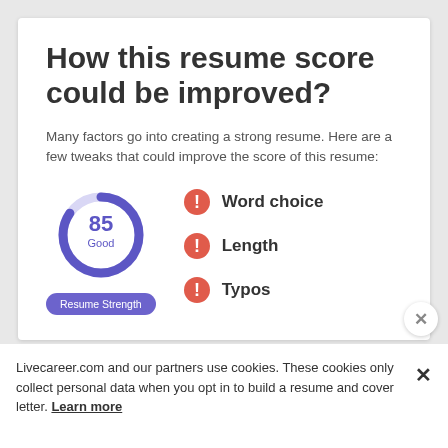How this resume score could be improved?
Many factors go into creating a strong resume. Here are a few tweaks that could improve the score of this resume:
[Figure (donut-chart): Donut chart showing score of 85 labeled 'Good' in purple/indigo color, partially filled arc]
Word choice
Length
Typos
Livecareer.com and our partners use cookies. These cookies only collect personal data when you opt in to build a resume and cover letter. Learn more